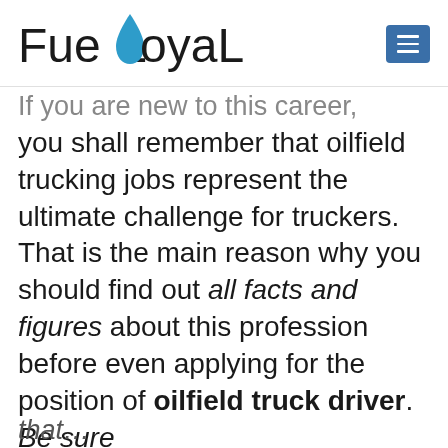FueLoyaL
If you are new to this career, you shall remember that oilfield trucking jobs represent the ultimate challenge for truckers. That is the main reason why you should find out all facts and figures about this profession before even applying for the position of oilfield truck driver. Be sure that…